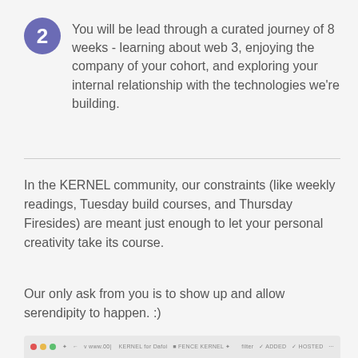You will be lead through a curated journey of 8 weeks - learning about web 3, enjoying the company of your cohort, and exploring your internal relationship with the technologies we're building.
In the KERNEL community, our constraints (like weekly readings, Tuesday build courses, and Thursday Firesides) are meant just enough to let your personal creativity take its course.
Our only ask from you is to show up and allow serendipity to happen. :)
[Figure (screenshot): Partial browser window taskbar screenshot at the bottom of the page]